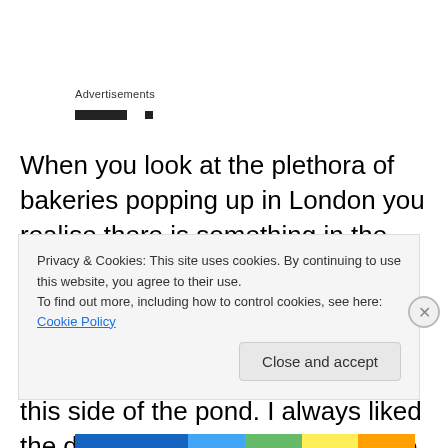Advertisements
[Figure (other): Advertisement placeholder with two black bars]
When you look at the plethora of bakeries popping up in London you realise there is something in the humble loaf. Whilst they all offer breads which can be toasted or not, as required, the toast bar concept hasn’t yet taken off over this side of the pond. I always liked the dualit toasters plugged into the ceiling and directly onto your breakfast
Privacy & Cookies: This site uses cookies. By continuing to use this website, you agree to their use.
To find out more, including how to control cookies, see here: Cookie Policy
Close and accept